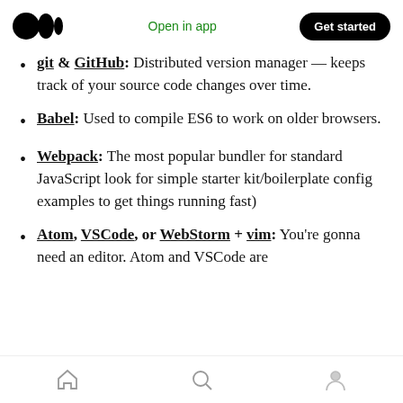Medium logo | Open in app | Get started
git & GitHub: Distributed version manager — keeps track of your source code changes over time.
Babel: Used to compile ES6 to work on older browsers.
Webpack: The most popular bundler for standard JavaScript look for simple starter kit/boilerplate config examples to get things running fast)
Atom, VSCode, or WebStorm + vim: You're gonna need an editor. Atom and VSCode are
Home | Search | Profile